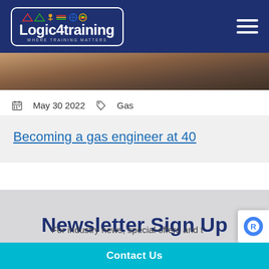[Figure (logo): Logic4training logo with colorful icons above text and 'Where Training Matters' tagline, inside a white-bordered rounded rectangle on a dark blue header background]
[Figure (photo): Partial photo showing a dark interior scene, cropped at top of page]
May 30 2022   Gas
Becoming a gas engineer at 40
Newsletter Sign Up
For industry news, special offers and t
Contact Us